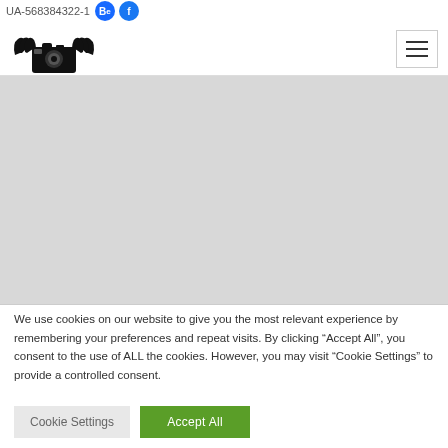UA-56838432-1
[Figure (logo): Camera with wings logo icon in black]
We use cookies on our website to give you the most relevant experience by remembering your preferences and repeat visits. By clicking "Accept All", you consent to the use of ALL the cookies. However, you may visit "Cookie Settings" to provide a controlled consent.
Cookie Settings | Accept All